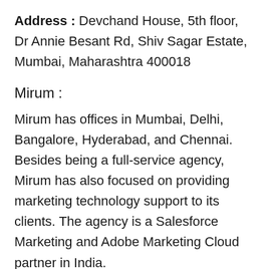Address : Devchand House, 5th floor, Dr Annie Besant Rd, Shiv Sagar Estate, Mumbai, Maharashtra 400018
Mirum :
Mirum has offices in Mumbai, Delhi, Bangalore, Hyderabad, and Chennai. Besides being a full-service agency, Mirum has also focused on providing marketing technology support to its clients. The agency is a Salesforce Marketing and Adobe Marketing Cloud partner in India.